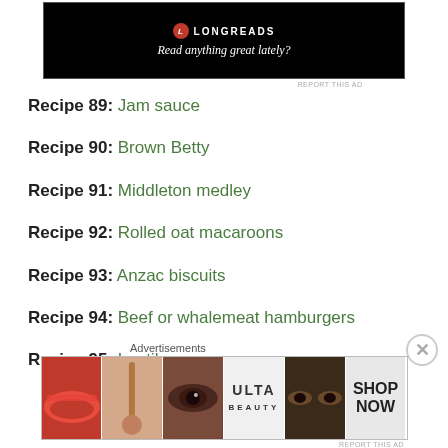[Figure (screenshot): Longreads advertisement banner with black background, red circle logo, and tagline 'Read anything great lately?']
Recipe 89: Jam sauce
Recipe 90: Brown Betty
Recipe 91: Middleton medley
Recipe 92: Rolled oat macaroons
Recipe 93: Anzac biscuits
Recipe 94: Beef or whalemeat hamburgers
Recipe 95: Lentil soup
[Figure (screenshot): Ulta Beauty advertisement banner showing cosmetics images — lips, makeup brush, eye, Ulta logo, eyes, and SHOP NOW text]